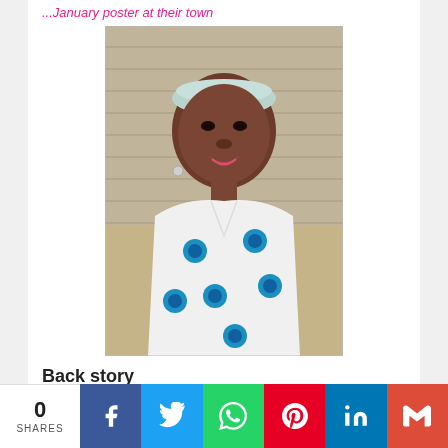...January poster at their town
[Figure (photo): A young woman wearing a light blue/white knit headband and a white blouse with blue floral print, taking a selfie outdoors against a concrete block wall background.]
Back story
0 SHARES | Facebook | Twitter | WhatsApp | Pinterest | LinkedIn | Gmail